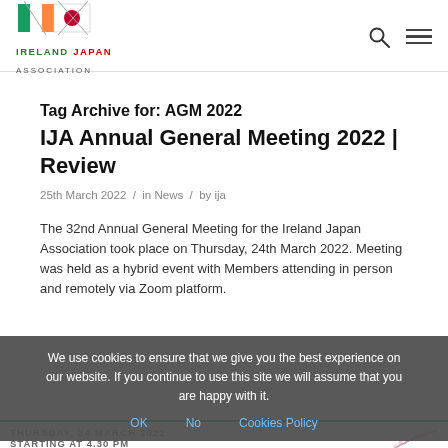Ireland Japan Association
Tag Archive for: AGM 2022
IJA Annual General Meeting 2022 | Review
25th March 2022 / in News / by ija
The 32nd Annual General Meeting for the Ireland Japan Association took place on Thursday, 24th March 2022. Meeting was held as a hybrid event with Members attending in person and remotely via Zoom platform.
We use cookies to ensure that we give you the best experience on our website. If you continue to use this site we will assume that you are happy with it.
[Figure (other): Event card with teal border showing THURSDAY, 24 MARCH 2022 STARTING AT 4.30 PM with cherry blossom illustration]